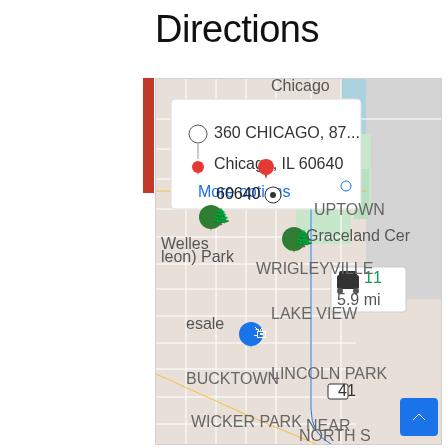Directions
[Figure (screenshot): Google Maps screenshot showing directions from 360 CHICAGO, 87... to Chicago, IL 60640. Map shows route through Uptown, Wrigleyville, Lake View, Lincoln Park, Bucktown, and Wicker Park neighborhoods. Route info shows 5.9 miles driving. A popup shows origin '360 CHICAGO, 87...' and destination 'Chicago, IL 60640' with a 'More options' link.]